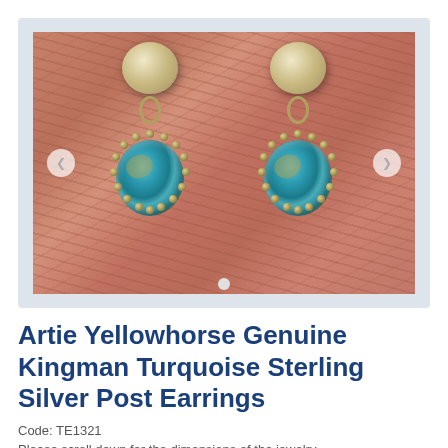[Figure (photo): Photo of a pair of Artie Yellowhorse Genuine Kingman Turquoise Sterling Silver Post Earrings on a red-rock background. The earrings have a domed silver post top, a small chain link, and an oval turquoise stone set in a beaded sterling silver bezel. Left and right navigation arrows and a carousel indicator dot are visible.]
Artie Yellowhorse Genuine Kingman Turquoise Sterling Silver Post Earrings
Code: TE1321
Please scroll down for the dimensions of the jewelry.